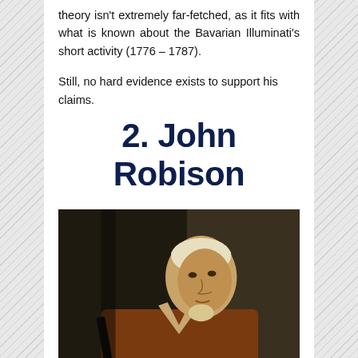theory isn't extremely far-fetched, as it fits with what is known about the Bavarian Illuminati's short activity (1776 – 1787).
Still, no hard evidence exists to support his claims.
2. John Robison
[Figure (photo): Portrait painting of John Robison, a man wearing a white cap and russet/brown coat, seated with what appears to be a musical instrument or tool, painted in an 18th-century style against a dark background.]